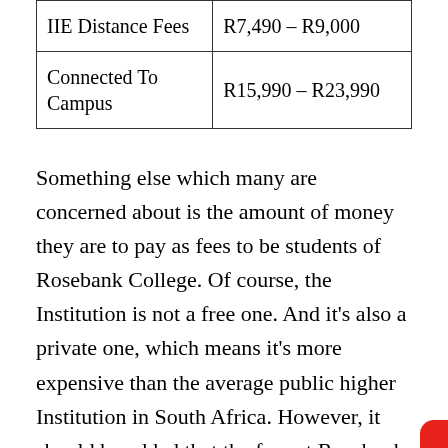| IIE Distance Fees | R7,490 – R9,000 |
| Connected To Campus | R15,990 – R23,990 |
Something else which many are concerned about is the amount of money they are to pay as fees to be students of Rosebank College. Of course, the Institution is not a free one. And it's also a private one, which means it's more expensive than the average public higher Institution in South Africa. However, it should be added that the fees at Rosebank College are still modest when compared with certain